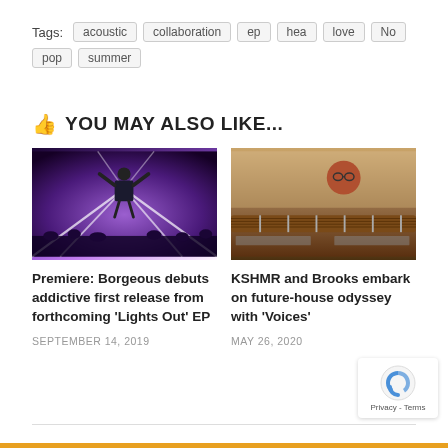Tags: acoustic collaboration ep hea love No pop summer
👍 YOU MAY ALSO LIKE...
[Figure (photo): DJ performing on stage with purple and white stage lights and crowd in foreground]
Premiere: Borgeous debuts addictive first release from forthcoming 'Lights Out' EP
SEPTEMBER 14, 2019
[Figure (photo): Young man with glasses playing or leaning over a guitar, warm brown tones]
KSHMR and Brooks embark on future-house odyssey with 'Voices'
MAY 26, 2020